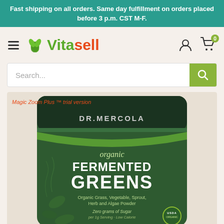Fast shipping on all orders. Same day fulfillment on orders placed before 3 p.m. CST M-F.
[Figure (logo): Vitasell logo with green leaf icon and red/green text]
Search...
[Figure (photo): Dr. Mercola Organic Fermented Greens product bag - dark green standing pouch with white text reading 'organic FERMENTED GREENS' and subtitle 'Organic Grass, Vegetable, Sprout, Herb and Algae Powder. Zero grams of Sugar per 1g Serving - Low Calorie'. USDA Organic seal visible. Watermark text reads 'Magic Zoom Plus trial version']